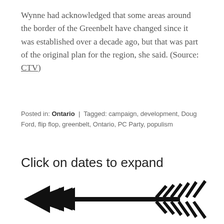Wynne had acknowledged that some areas around the border of the Greenbelt have changed since it was established over a decade ago, but that was part of the original plan for the region, she said. (Source: CTV)
Posted in: Ontario | Tagged: campaign, development, Doug Ford, flip flop, greenbelt, Ontario, PC Party, populism
Click on dates to expand
[Figure (illustration): A decorative arrow illustration pointing left, with a double arrowhead on the left side and feather/barb details on the right side, rendered in black.]